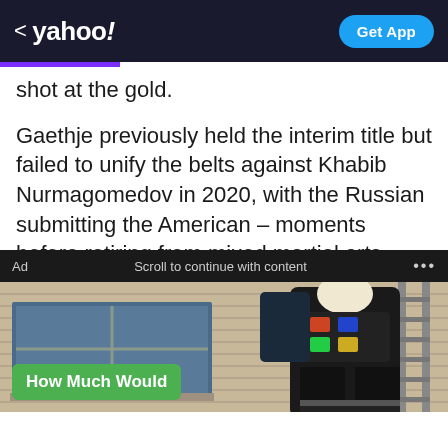< yahoo!  Get App
shot at the gold.
Gaethje previously held the interim title but failed to unify the belts against Khabib Nurmagomedov in 2020, with the Russian submitting the American – moments before retiring from mixed martial arts.
Ad   Scroll to continue with content   ...
[Figure (photo): A person in dark clothing and a helmet climbing a ladder on the side of a beige house, viewed from behind. A window is visible on the left side.]
How Much Would